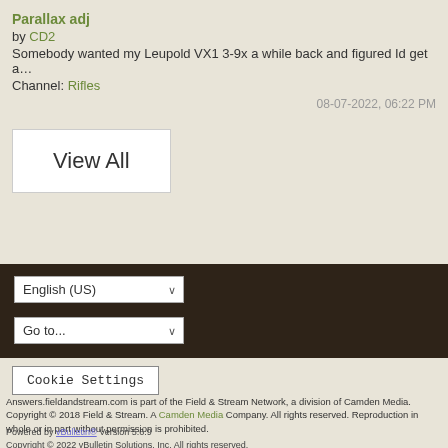Parallax adj
by CD2
Somebody wanted my Leupold VX1 3-9x a while back and figured Id get a…
Channel: Rifles
08-07-2022, 06:22 PM
View All
English (US)
Go to...
Cookie Settings
Answers.fieldandstream.com is part of the Field & Stream Network, a division of Camden Media. Copyright © 2018 Field & Stream. A Camden Media Company. All rights reserved. Reproduction in whole or in part without permission is prohibited.
Powered by vBulletin® Version 5.6.9
Copyright © 2022 vBulletin Solutions, Inc. All rights reserved.
All times are GMT-5. This page was generated at 10:38 PM.